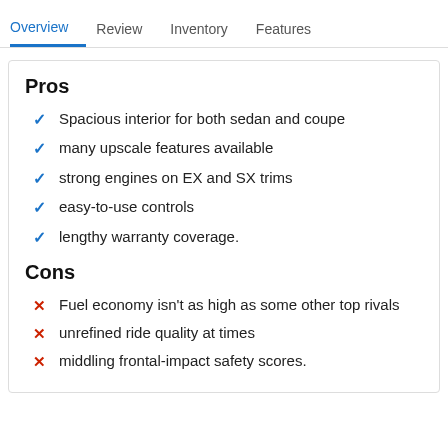Overview | Review | Inventory | Features
Pros
Spacious interior for both sedan and coupe
many upscale features available
strong engines on EX and SX trims
easy-to-use controls
lengthy warranty coverage.
Cons
Fuel economy isn't as high as some other top rivals
unrefined ride quality at times
middling frontal-impact safety scores.